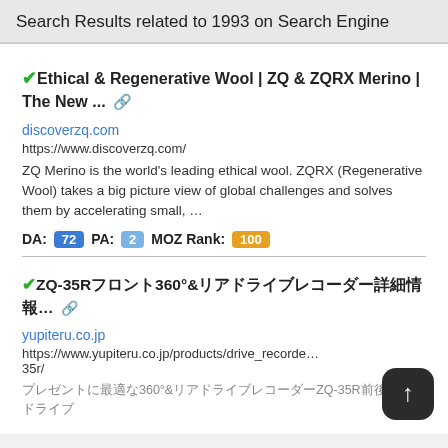Search Results related to 1993 on Search Engine
✔Ethical & Regenerative Wool | ZQ & ZQRX Merino | The New ... 🔗
discoverzq.com
https://www.discoverzq.com/
ZQ Merino is the world's leading ethical wool. ZQRX (Regenerative Wool) takes a big picture view of global challenges and solves them by accelerating small, ...
DA: 72 PA: 2 MOZ Rank: 100
✔ZQ-35R前後360°&ドライブレコーダー... 🔗
yupiteru.co.jp
https://www.yupiteru.co.jp/products/drive_recorder/35r/
前後360°ドライブレコーダーZQ-35R前後360° & ドライブ